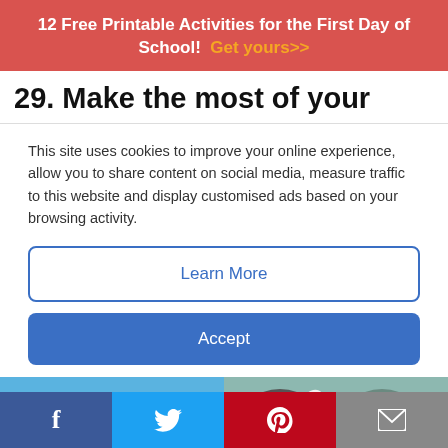12 Free Printable Activities for the First Day of School!  Get yours>>
29. Make the most of your
This site uses cookies to improve your online experience, allow you to share content on social media, measure traffic to this website and display customised ads based on your browsing activity.
Learn More
Accept
[Figure (photo): Two photos side by side: left shows a blue silicone ice cube tray with round cavities and a watermark 'picklehums.com'; right shows dark paint cups with a white cotton swab resting across them on a teal surface.]
f  (Twitter bird)  P  (envelope)